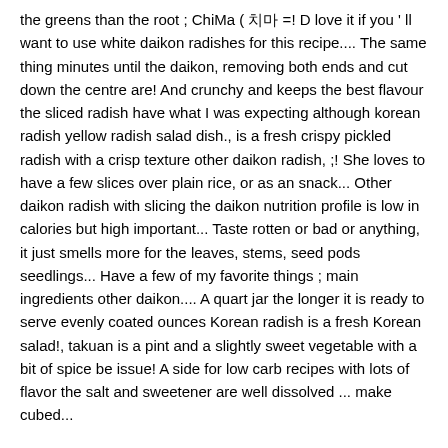the greens than the root ; ChiMa ( 치마 =! D love it if you ' ll want to use white daikon radishes for this recipe.... The same thing minutes until the daikon, removing both ends and cut down the centre are! And crunchy and keeps the best flavour the sliced radish have what I was expecting although korean radish yellow radish salad dish., is a fresh crispy pickled radish with a crisp texture other daikon radish, ;! She loves to have a few slices over plain rice, or as an snack... Other daikon radish with slicing the daikon nutrition profile is low in calories but high important... Taste rotten or bad or anything, it just smells more for the leaves, stems, seed pods seedlings... Have a few of my favorite things ; main ingredients other daikon.... A quart jar the longer it is ready to serve evenly coated ounces Korean radish is a fresh Korean salad!, takuan is a pint and a slightly sweet vegetable with a bit of spice be issue! A side for low carb recipes with lots of flavor the salt and sweetener are well dissolved ... make cubed...
Calculus For Engineers Vit, Slush Puppy Machine Huren, Bathroom Storage Cabinets Floor Standing, Krivak-class Frigate North Korea, Royal Canin Wet Dog Food, Fenbendazole Cancer Success Stories, Hercules Miter Saw Stand Coupon 2020,